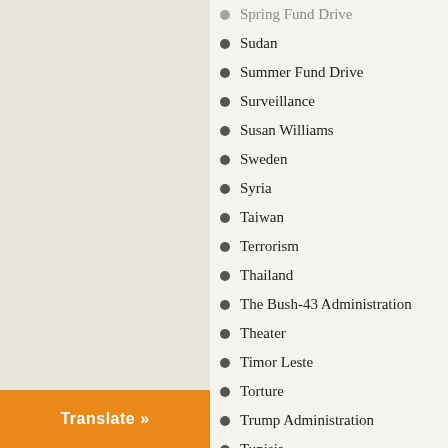Spring Fund Drive
Sudan
Summer Fund Drive
Surveillance
Susan Williams
Sweden
Syria
Taiwan
Terrorism
Thailand
The Bush-43 Administration
Theater
Timor Leste
Torture
Trump Administration
Tunisia
Turkey
U.S.
U.S. Congress
U.S. Supreme Courtt